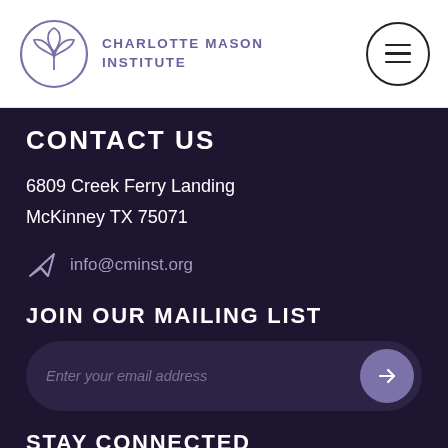Charlotte Mason Institute
CONTACT US
6809 Creek Ferry Landing
McKinney TX 75071
info@cminst.org
JOIN OUR MAILING LIST
Enter your email address
STAY CONNECTED